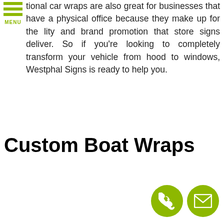MENU (navigation icon with green bars)
tional car wraps are also great for businesses that have a physical office because they make up for the lity and brand promotion that store signs deliver. So if you're looking to completely transform your vehicle from hood to windows, Westphal Signs is ready to help you.
Custom Boat Wraps
[Figure (infographic): Two circular green icon buttons at the bottom right: a phone/call icon and an email/envelope icon]